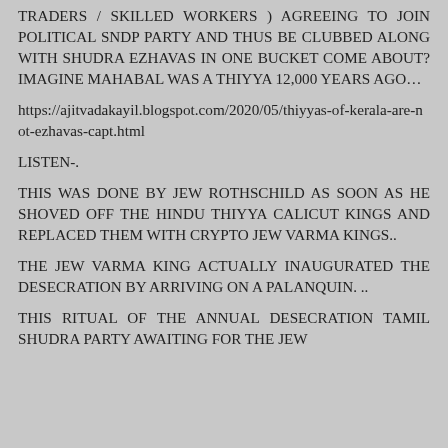TRADERS / SKILLED WORKERS ) AGREEING TO JOIN POLITICAL SNDP PARTY AND THUS BE CLUBBED ALONG WITH SHUDRA EZHAVAS IN ONE BUCKET COME ABOUT? IMAGINE MAHABAL WAS A THIYYA 12,000 YEARS AGO…
https://ajitvadakayil.blogspot.com/2020/05/thiyyas-of-kerala-are-not-ezhavas-capt.html
LISTEN-.
THIS WAS DONE BY JEW ROTHSCHILD AS SOON AS HE SHOVED OFF THE HINDU THIYYA CALICUT KINGS AND REPLACED THEM WITH CRYPTO JEW VARMA KINGS..
THE JEW VARMA KING ACTUALLY INAUGURATED THE DESECRATION BY ARRIVING ON A PALANQUIN. ..
THIS RITUAL OF THE ANNUAL DESECRATION TAMIL SHUDRA PARTY AWAITING FOR THE JEW